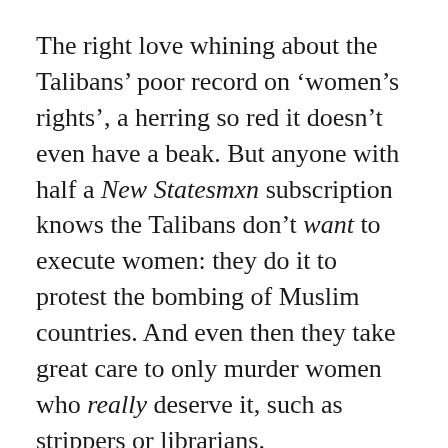The right love whining about the Talibans' poor record on 'women's rights', a herring so red it doesn't even have a beak. But anyone with half a New Statesmxn subscription knows the Talibans don't want to execute women: they do it to protest the bombing of Muslim countries. And even then they take great care to only murder women who really deserve it, such as strippers or librarians.
Contrast this with western TERFS, the evil transphobes who've spent the last decade using words and memes to literally exterminate real women – the